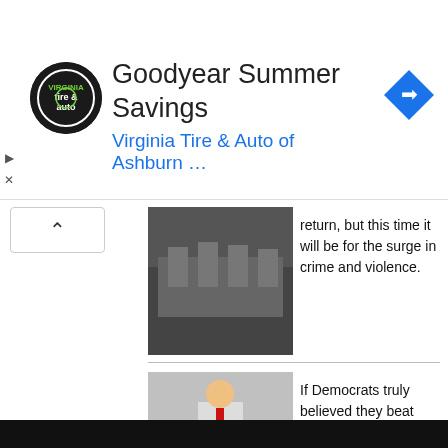[Figure (other): Advertisement banner: Goodyear Summer Savings - Virginia Tire & Auto of Ashburn logo with navigation icon]
return, but this time it will be for the surge in crime and violence.
If Democrats truly believed they beat Trump by 10 million votes in 2020, they wouldn't be so afraid of him running again in 2024.
Favorite sites Breitbart ZeroHedge Washington Times